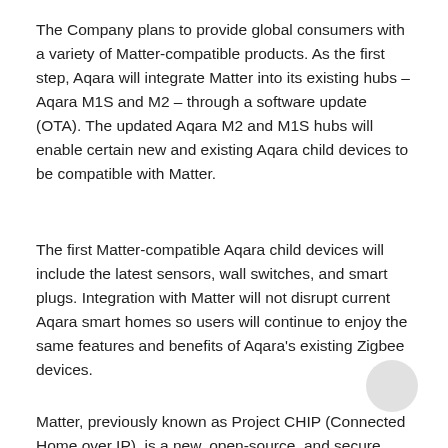The Company plans to provide global consumers with a variety of Matter-compatible products. As the first step, Aqara will integrate Matter into its existing hubs – Aqara M1S and M2 – through a software update (OTA). The updated Aqara M2 and M1S hubs will enable certain new and existing Aqara child devices to be compatible with Matter.
The first Matter-compatible Aqara child devices will include the latest sensors, wall switches, and smart plugs. Integration with Matter will not disrupt current Aqara smart homes so users will continue to enjoy the same features and benefits of Aqara's existing Zigbee devices.
Matter, previously known as Project CHIP (Connected Home over IP), is a new, open-source, and secure connectivity standard for IoT devices. Aqara shares Matter's vision of having a unifying language for the IoT industry to improve consumers' smart home